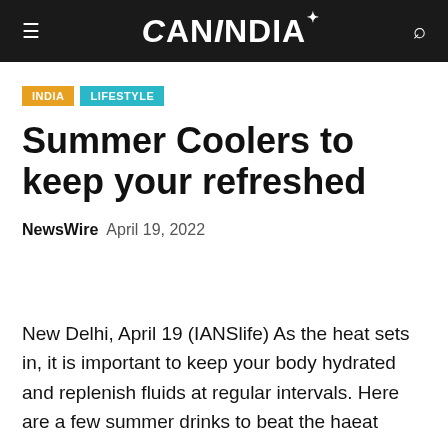CANINDIA
INDIA   LIFESTYLE
Summer Coolers to keep your refreshed
NewsWire   April 19, 2022
New Delhi, April 19 (IANSlife) As the heat sets in, it is important to keep your body hydrated and replenish fluids at regular intervals. Here are a few summer drinks to beat the haeat